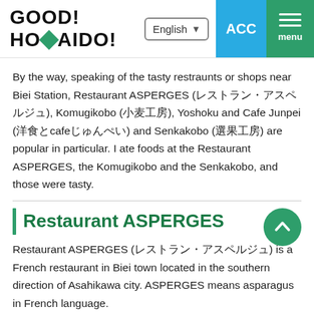GOOD! HOMAIDO!
By the way, speaking of the tasty restraunts or shops near Biei Station, Restaurant ASPERGES (レストラン・アスペルジュ), Komugikobo (小麦工房), Yoshoku and Cafe Junpei (洋食とcafeじゅんぺい) and Senkakobo (選果工房) are popular in particular. I ate foods at the Restaurant ASPERGES, the Komugikobo and the Senkakobo, and those were tasty.
Restaurant ASPERGES
Restaurant ASPERGES (レストラン・アスペルジュ) is a French restaurant in Biei town located in the southern direction of Asahikawa city. ASPERGES means asparagus in French language.